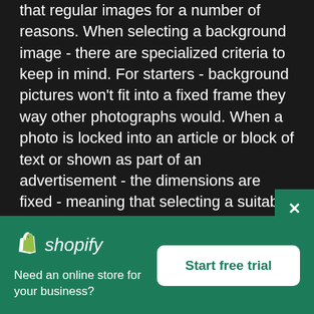that regular images for a number of reasons. When selecting a background image - there are specialized criteria to keep in mind. For starters - background pictures won't fit into a fixed frame they way other photographs would. When a photo is locked into an article or block of text or shown as part of an advertisement - the dimensions are fixed - meaning that selecting a suitable photo really just comes down to aesthetics.
With background images - things work a little differently. To start, backgrounds are not likely to be
[Figure (screenshot): Shopify advertisement banner with logo, tagline 'Need an online store for your business?' and 'Start free trial' button on teal/green background]